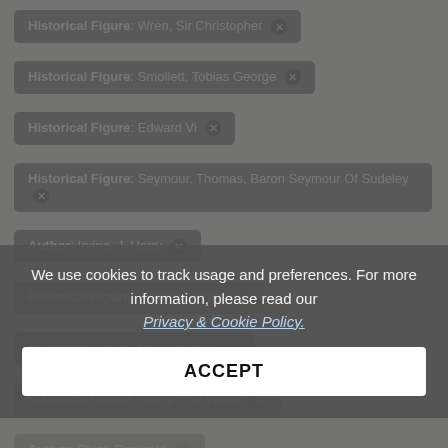Historical Figure: Wren, Sir Christopher ✕
Historical Figure: Smollett, Tobias George ✕
Historical Figure: Edward Vi ✕
Historical Figure: Seymour, Thomas, Baron Seymour Of Sudeley ✕
Author: Irvine, J. Harry ✕
Historical Figure: Fielding, Henry ✕
Historical Figure: Mandubratius ✕
Historical Figure: Ralegh, Sir Walter ✕
Author: Blunt, Reginald ✕
Date(s)
From
1908
We use cookies to track usage and preferences. For more information, please read our Privacy & Cookie Policy.
ACCEPT